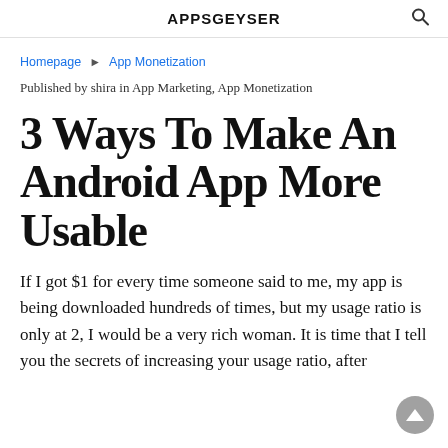APPSGEYSER
Homepage ► App Monetization
Published by shira in App Marketing, App Monetization
3 Ways To Make An Android App More Usable
If I got $1 for every time someone said to me, my app is being downloaded hundreds of times, but my usage ratio is only at 2, I would be a very rich woman. It is time that I tell you the secrets of increasing your usage ratio, after